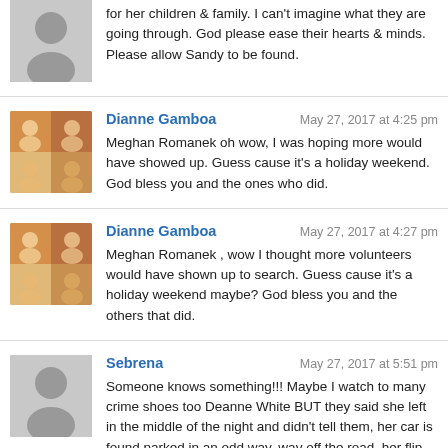for her children & family. I can't imagine what they are going through. God please ease their hearts & minds. Please allow Sandy to be found.
Dianne Gamboa   May 27, 2017 at 4:25 pm
Meghan Romanek oh wow, I was hoping more would have showed up. Guess cause it's a holiday weekend. God bless you and the ones who did.
Dianne Gamboa   May 27, 2017 at 4:27 pm
Meghan Romanek , wow I thought more volunteers would have shown up to search. Guess cause it's a holiday weekend maybe? God bless you and the others that did.
Sebrena   May 27, 2017 at 5:51 pm
Someone knows something!!! Maybe I watch to many crime shoes too Deanne White BUT they said she left in the middle of the night and didn't tell them, her car is found parked in an odd way, way off the road, her flip